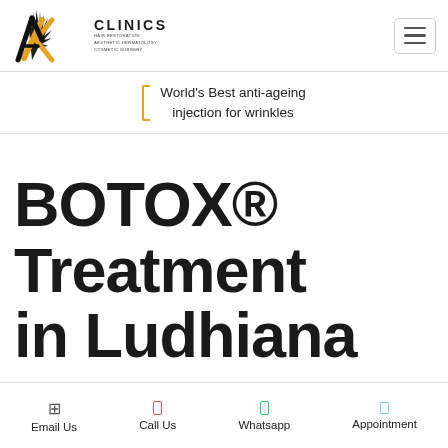[Figure (logo): AK Clinics logo with stylized hair/leaf icon and text: AK CLINICS, Hair Restoration, Aesthetic Dermatology, Cosmetic Surgery]
World's Best anti-ageing injection for wrinkles
BOTOX® Treatment in Ludhiana
Email Us | Call Us | Whatsapp | Appointment